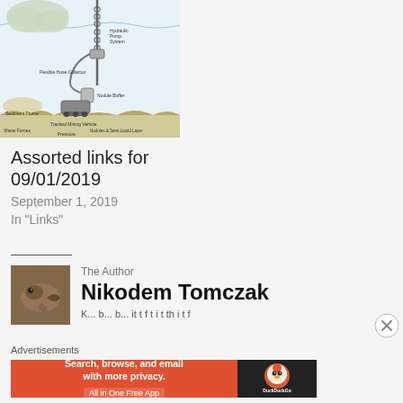[Figure (schematic): Deep sea mining schematic showing hydraulic pump system, flexible hose collector, nodule buffer, tracked mining vehicle, sediment plume, shear forces, pressure indicators, and nodules & semi-liquid layer]
Assorted links for 09/01/2019
September 1, 2019
In "Links"
The Author
Nikodem Tomczak
K... b... b... it t f t i t th i t f
Advertisements
[Figure (illustration): DuckDuckGo advertisement banner: Search, browse, and email with more privacy. All in One Free App. DuckDuckGo logo on dark background.]